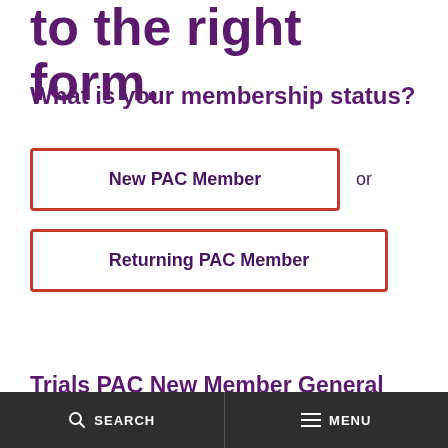to the right form.
What is your membership status?
New PAC Member
Returning PAC Member
Trials PAC New Member General
SEARCH   MENU